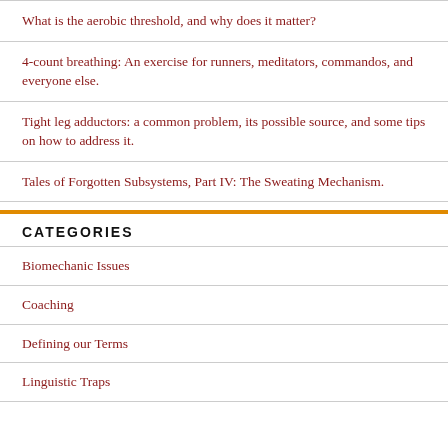What is the aerobic threshold, and why does it matter?
4-count breathing: An exercise for runners, meditators, commandos, and everyone else.
Tight leg adductors: a common problem, its possible source, and some tips on how to address it.
Tales of Forgotten Subsystems, Part IV: The Sweating Mechanism.
CATEGORIES
Biomechanic Issues
Coaching
Defining our Terms
Linguistic Traps